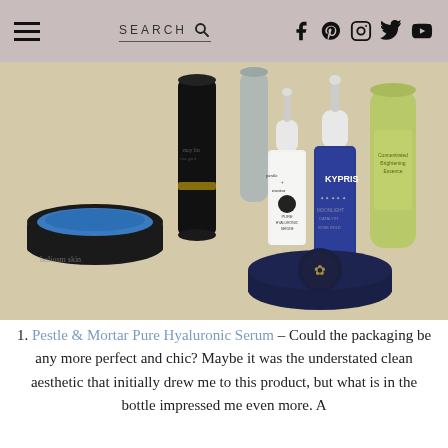SEARCH [navigation icons: Facebook, Pinterest, Instagram, Twitter, YouTube]
[Figure (photo): Flat lay of beauty/skincare products on a beige linen surface: a black jar with blue eye cream, a tall black bottle, a small grey tube, a clear dropper bottle labeled 'Pestle & Mortar Pure Hyaluronic Serum', a dark blue dropper bottle labeled 'KYPRIS', a yellow-green squeeze tube, and a navy compact powder container.]
1. Pestle & Mortar Pure Hyaluronic Serum – Could the packaging be any more perfect and chic? Maybe it was the understated clean aesthetic that initially drew me to this product, but what is in the bottle impressed me even more. A